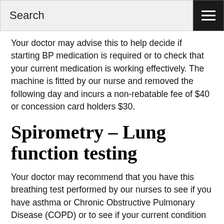Search
Your doctor may advise this to help decide if starting BP medication is required or to check that your current medication is working effectively. The machine is fitted by our nurse and removed the following day and incurs a non-rebatable fee of $40 or concession card holders $30.
Spirometry – Lung function testing
Your doctor may recommend that you have this breathing test performed by our nurses to see if you have asthma or Chronic Obstructive Pulmonary Disease (COPD) or to see if your current condition is being well monitored. This